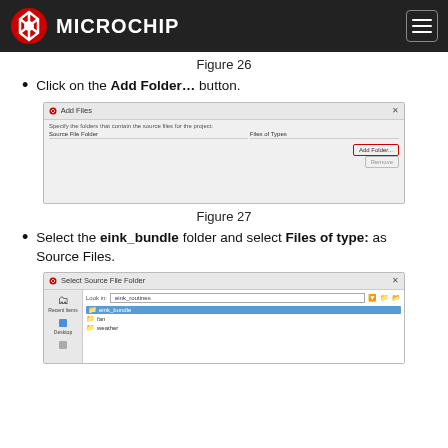Microchip
Figure 26
Click on the Add Folder… button.
[Figure (screenshot): Add Files dialog showing Source File Folder and Files of Type columns, with Add Folder... button highlighted in red border on the right]
Figure 27
Select the eink_bundle folder and select Files of type: as Source Files.
[Figure (screenshot): Select Source File Folder dialog showing eink_bundle folder selected (highlighted in blue), with fan and weather folders below it, Look In field showing eink_routines]